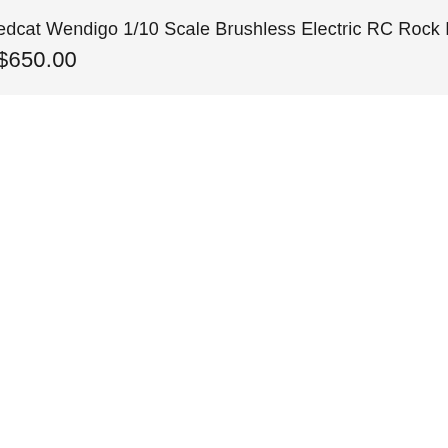edcat Wendigo 1/10 Scale Brushless Electric RC Rock Racer
$650.00